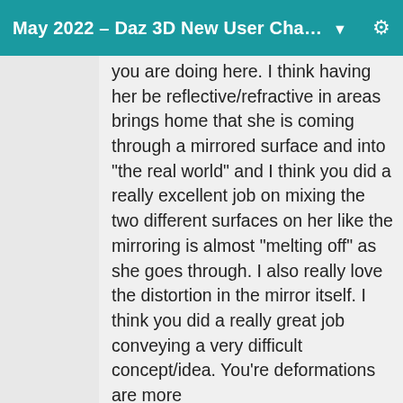May 2022 – Daz 3D New User Cha… ▼
you are doing here. I think having her be reflective/refractive in areas brings home that she is coming through a mirrored surface and into "the real world" and I think you did a really excellent job on mixing the two different surfaces on her like the mirroring is almost "melting off" as she goes through. I also really love the distortion in the mirror itself. I think you did a really great job conveying a very difficult concept/idea. You're deformations are more